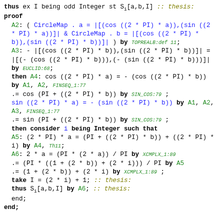proof block with A2, A3, A4, A5, A6 steps and lemma Lm16
Lm16: for f being Function of (Tcircle ((0. (TOP-REAL (2 + 1))),1)),(TOP-REAL 2) st f is without_antipodals & f is continuous holds H_1(f) is nullhomotopic Loop of (Sn1->Sn f) . c100a
proof end;